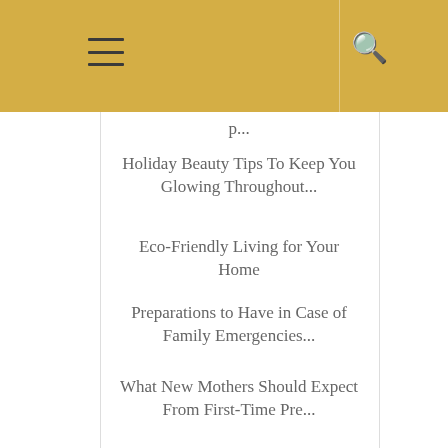Navigation menu header with hamburger menu icon and search icon on gold/yellow background
p...
Holiday Beauty Tips To Keep You Glowing Throughout...
Eco-Friendly Living for Your Home
Preparations to Have in Case of Family Emergencies...
What New Mothers Should Expect From First-Time Pre...
Growing Up With Optimism: The Life Of A Two-Year-Old
How To Prepare Your Child For The Birth Of Your Baby...